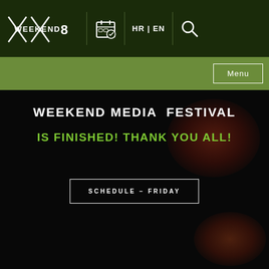WEEKEND 8 | HR | EN
WEEKEND MEDIA FESTIVAL
IS FINISHED! THANK YOU ALL!
SCHEDULE - FRIDAY